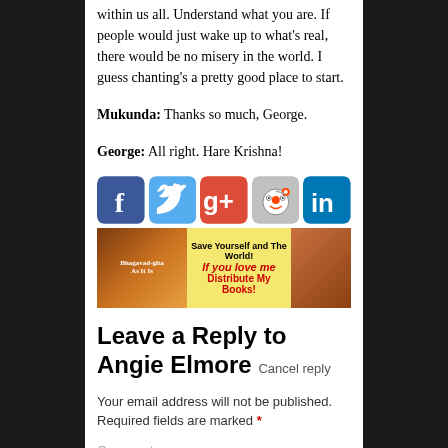within us all. Understand what you are. If people would just wake up to what's real, there would be no misery in the world. I guess chanting's a pretty good place to start.
Mukunda: Thanks so much, George.
George: All right. Hare Krishna!
[Figure (infographic): Row of five social media icons: Facebook (blue), Twitter (light blue), Google+ (red), Reddit (gray), LinkedIn (dark blue)]
[Figure (infographic): Banner reading: Save Yourself and The World! If you love me Distribute My Books! with Bhagavad-gita As It Is book cover on left and a person on right]
Leave a Reply to Angie Elmore
Cancel reply
Your email address will not be published. Required fields are marked *
Comment